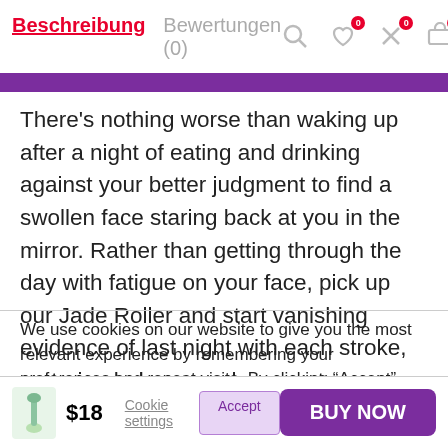Beschreibung   Bewertungen (0)
There’s nothing worse than waking up after a night of eating and drinking against your better judgment to find a swollen face staring back at you in the mirror. Rather than getting through the day with fatigue on your face, pick up our Jade Roller and start vanishing evidence of last night with each stroke, restoring balance and energy to
We use cookies on our website to give you the most relevant experience by remembering your preferences and repeat visits. By clicking “Accept”, you consent to the use of ALL the cookies.
Cookie settings   Accept   $18   BUY NOW